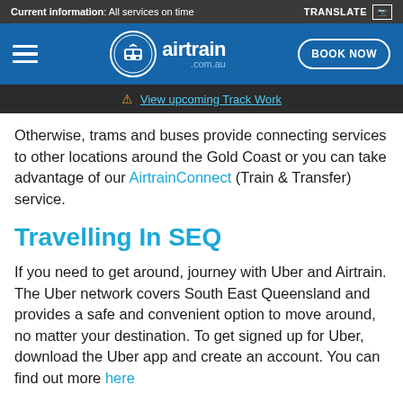Current information: All services on time   TRANSLATE
[Figure (logo): Airtrain .com.au logo with navigation hamburger menu and BOOK NOW button on blue background]
⚠ View upcoming Track Work
Otherwise, trams and buses provide connecting services to other locations around the Gold Coast or you can take advantage of our AirtrainConnect (Train & Transfer) service.
Travelling In SEQ
If you need to get around, journey with Uber and Airtrain. The Uber network covers South East Queensland and provides a safe and convenient option to move around, no matter your destination. To get signed up for Uber, download the Uber app and create an account. You can find out more here